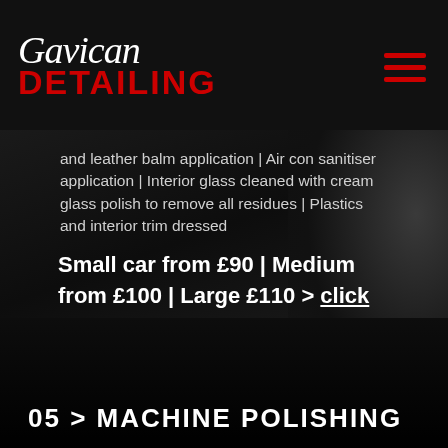Gavican Detailing
and leather balm application | Air con sanitiser application | Interior glass cleaned with cream glass polish to remove all residues | Plastics and interior trim dressed
Small car from £90 | Medium from £100 | Large £110 > click for more info
05 > MACHINE POLISHING